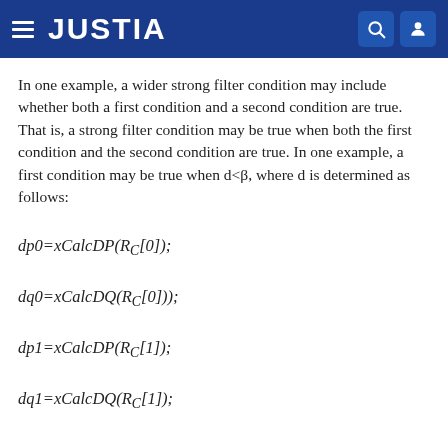JUSTIA
In one example, a wider strong filter condition may include whether both a first condition and a second condition are true. That is, a strong filter condition may be true when both the first condition and the second condition are true. In one example, a first condition may be true when d<β, where d is determined as follows: